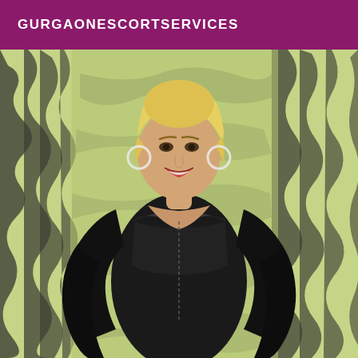GURGAONESCORTSERVICES
[Figure (photo): A blonde woman wearing a black latex/leather corset dress and long black gloves, posed in front of a green and black zebra-stripe patterned background, smiling at the camera with large hoop earrings.]